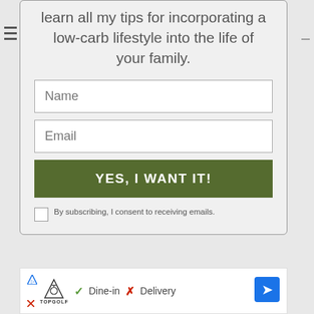learn all my tips for incorporating a low-carb lifestyle into the life of your family.
[Figure (screenshot): Web form with Name field, Email field, green YES I WANT IT! button, and a consent checkbox with text 'By subscribing, I consent to receiving emails.']
[Figure (screenshot): Advertisement banner for Topgolf showing Dine-in checkmark, X Delivery, and a blue navigation arrow icon]